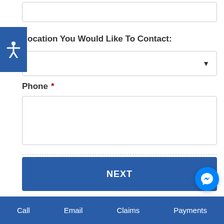Location You Would Like To Contact:
Phone *
NEXT
Call   Email   Claims   Payments